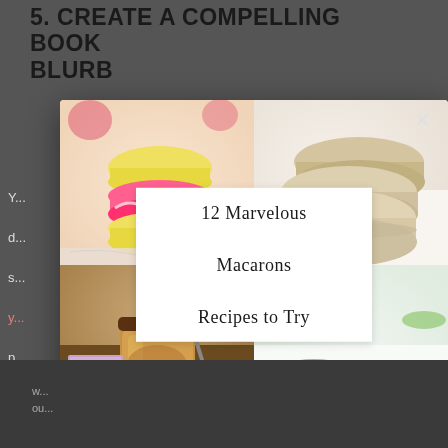5. CREATE A COMPELLING BOOK BLURB
[Figure (photo): A Pinterest-style popup card showing a 2x2 grid of macaron photos: top-left shows pink and yellow macarons stacked, top-right shows beige/cream macarons stacked, bottom-left shows a jar of caramel sauce with a book 'hug for your belly', bottom-right shows green mint macarons with chocolate chips. A white overlay banner in the center reads '12 Marvelous Macarons Recipes to Try'.]
w... ou...